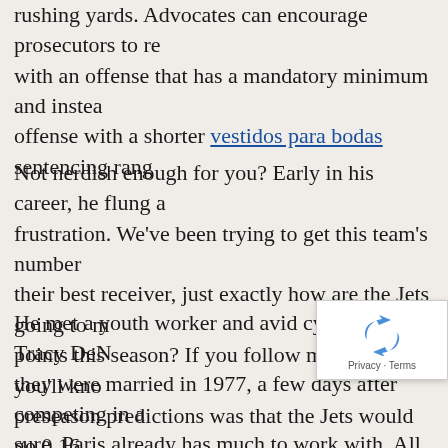rushing yards. Advocates can encourage prosecutors to re... with an offense that has a mandatory minimum and instead... offense with a shorter vestidos para bodas sentencing rang...
Not nerdish enough for you? Early in his career, he flung a... frustration. We've been trying to get this team's number... their best receiver, just exactly how are the Jets going to m... points this season? If you follow me on Twitter, you'll kno... preseason predictions was that the Jets would go 0 16.
He met a youth worker and avid cyclist named Tracy DeN... they were married in 1977, a few days after competing in a... sure, Paris already has much to work with. All these player... and have performed in the Champions League and for the...
David Shaw, the coach at rival Stanford, called Sam the be... nation. That works for me should respect the co... a prison tour, meetings with grass roots organiz... leaders, police, families in the community and formerly in...
[Figure (other): reCAPTCHA widget showing a circular arrow icon with 'Privacy - Terms' text]